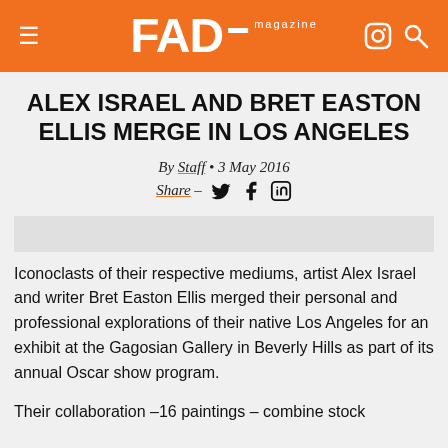FAD magazine
ALEX ISRAEL AND BRET EASTON ELLIS MERGE IN LOS ANGELES
By Staff • 3 May 2016
Share – [Twitter] [Facebook] [LinkedIn]
[Figure (other): Advertisement placeholder banner]
Iconoclasts of their respective mediums, artist Alex Israel and writer Bret Easton Ellis merged their personal and professional explorations of their native Los Angeles for an exhibit at the Gagosian Gallery in Beverly Hills as part of its annual Oscar show program.
Their collaboration –16 paintings – combine stock